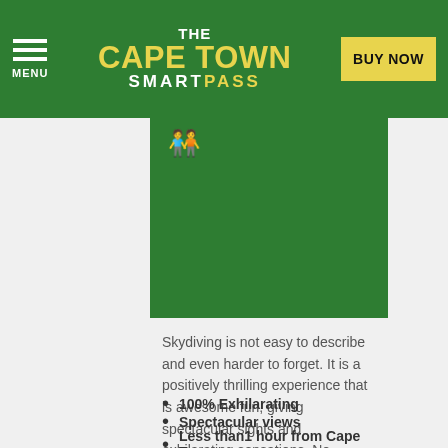THE CAPE TOWN SMARTPASS | BUY NOW
[Figure (illustration): Green background image block with a yellow people/group icon at the top left]
Skydiving is not easy to describe and even harder to forget. It is a positively thrilling experience that is awesome fun, giving spectacular sights and exhilarating sensations. No previous experience is required, just a good sense of adventure.
100% Exhilarating
Spectacular views
Less than1 hour from Cape Town
Daily Cape Town Shuttle